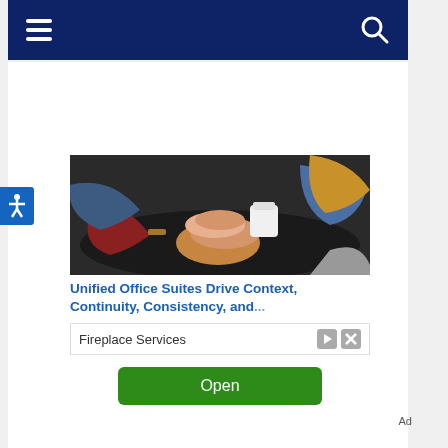Navigation bar with hamburger menu and search icon
[Figure (photo): Group of people putting their hands together in a team gesture, viewed from above, showing diverse arms and hands]
Unified Office Suites Drive Context, Continuity, Consistency, and...
Fireplace Services
Open
Ad